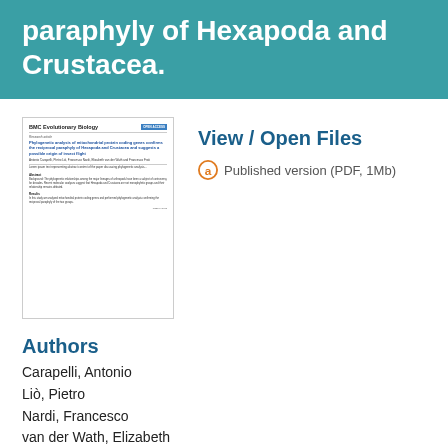paraphyly of Hexapoda and Crustacea.
[Figure (screenshot): Thumbnail preview of a BMC Evolutionary Biology journal article page]
View / Open Files
Published version (PDF, 1Mb)
Authors
Carapelli, Antonio
Liò, Pietro
Nardi, Francesco
van der Wath, Elizabeth
Frati, Francesco
Publication Date